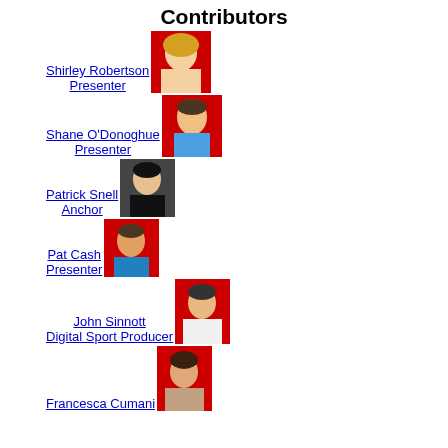Contributors
Shirley Robertson
Presenter
Shane O'Donoghue
Presenter
Patrick Snell
Anchor
Pat Cash
Presenter
John Sinnott
Digital Sport Producer
Francesca Cumani